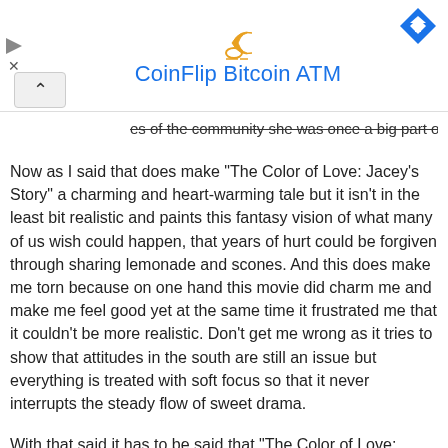[Figure (other): Advertisement banner for CoinFlip Bitcoin ATM with logo icon, blue text title, navigation diamond icon, close/play controls on left, and chevron-up button]
es of the community she was once a big part of.
Now as I said that does make "The Color of Love: Jacey's Story" a charming and heart-warming tale but it isn't in the least bit realistic and paints this fantasy vision of what many of us wish could happen, that years of hurt could be forgiven through sharing lemonade and scones. And this does make me torn because on one hand this movie did charm me and make me feel good yet at the same time it frustrated me that it couldn't be more realistic. Don't get me wrong as it tries to show that attitudes in the south are still an issue but everything is treated with soft focus so that it never interrupts the steady flow of sweet drama.
With that said it has to be said that "The Color of Love: Jacey's Story" is well cast and both Gena Rowlands and Louis Gossett Jr. play their parts well bringing to life characters which have a surprising amount of layers and back story. But they are often over shadowed by the cutesy acting of Penny Bae Bridges who as Jacey delivers every single scene in a sweet manner which whilst in some movies would be annoying actually contributes to this